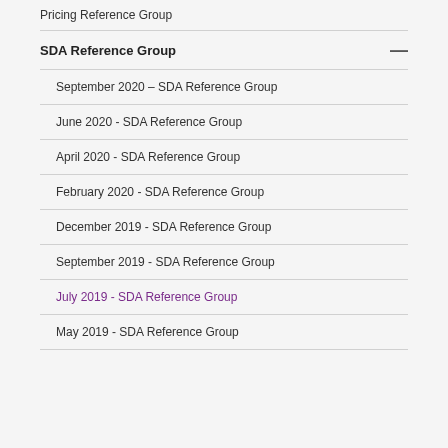Pricing Reference Group
SDA Reference Group
September 2020 – SDA Reference Group
June 2020 - SDA Reference Group
April 2020 - SDA Reference Group
February 2020 - SDA Reference Group
December 2019 - SDA Reference Group
September 2019 - SDA Reference Group
July 2019 - SDA Reference Group
May 2019 - SDA Reference Group